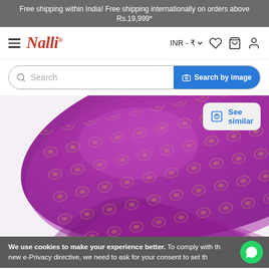Free shipping within India! Free shipping internationally on orders above Rs.19,999*
[Figure (logo): Nalli brand logo with hamburger menu icon on left and INR currency selector, heart, bag, and user icons on right]
Search
[Figure (photo): Purple/magenta silk saree with gold zari brocade embroidery pattern, draped and folded, shown on white background. A 'See similar' button appears in top right of image area.]
We use cookies to make your experience better. To comply with the new e-Privacy directive, we need to ask for your consent to set th
Add to Cart